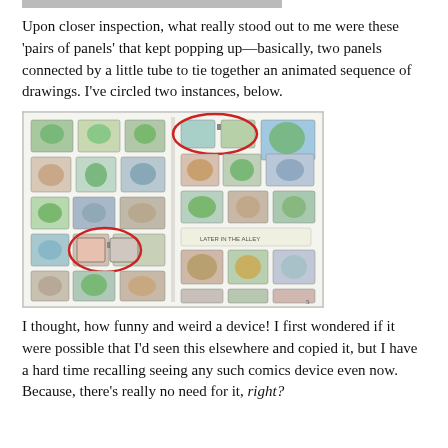[Figure (illustration): Partial top image cropped at the top of the page (cut off)]
Upon closer inspection, what really stood out to me were these 'pairs of panels' that kept popping up—basically, two panels connected by a little tube to tie together an animated sequence of drawings. I've circled two instances, below.
[Figure (illustration): A comic book page spread showing many small colorful cartoon turtle panels (Ninja Turtles style). Two red circles highlight pairs of panels connected by a small tube, one in the upper-right area and one in the lower-left area of the spread.]
I thought, how funny and weird a device! I first wondered if it were possible that I'd seen this elsewhere and copied it, but I have a hard time recalling seeing any such comics device even now. Because, there's really no need for it, right?